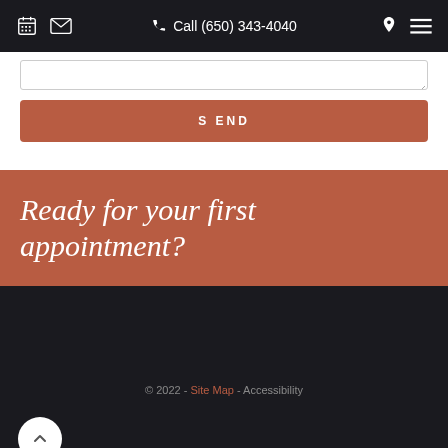Call (650) 343-4040
[Figure (screenshot): Website contact form textarea input field with resize handle]
SEND
Ready for your first appointment?
© 2022 - Site Map - Accessibility